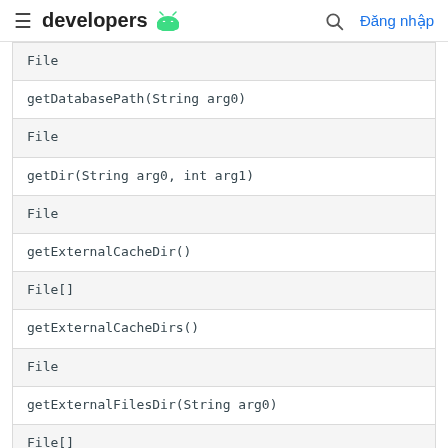developers [android logo] [search] Đăng nhập
| File |
| getDatabasePath(String arg0) |
| File |
| getDir(String arg0, int arg1) |
| File |
| getExternalCacheDir() |
| File[] |
| getExternalCacheDirs() |
| File |
| getExternalFilesDir(String arg0) |
| File[] |
| getExternalFilesDirs(String arg0) |
| File[] |
| getExternalMediaDirs() |